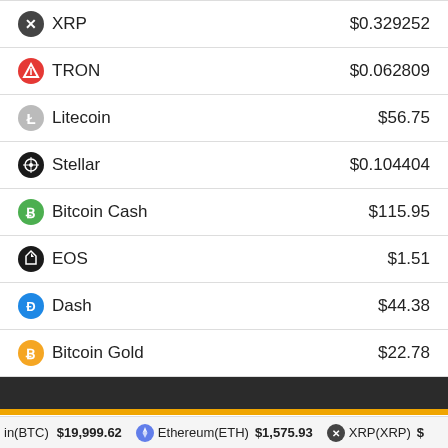| Cryptocurrency | Price |
| --- | --- |
| XRP | $0.329252 |
| TRON | $0.062809 |
| Litecoin | $56.75 |
| Stellar | $0.104404 |
| Bitcoin Cash | $115.95 |
| EOS | $1.51 |
| Dash | $44.38 |
| Bitcoin Gold | $22.78 |
[Figure (other): Dark banner bar with yellow/gold accent stripe at bottom]
Follow us on Facebook
in(BTC) $19,999.62   Ethereum(ETH) $1,575.93   XRP(XRP) $